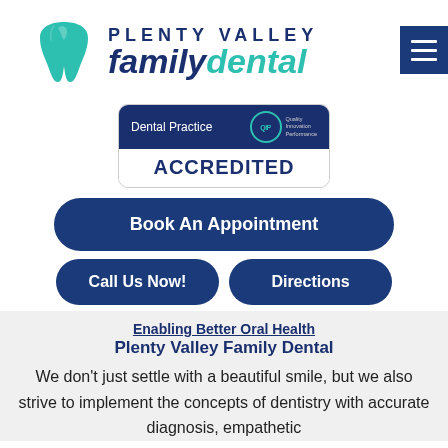[Figure (logo): Plenty Valley Family Dental logo with teal tooth icon and navy/teal text]
[Figure (other): QIP Dental Practice Accredited badge with navy top section and white bottom section showing ACCREDITED text]
Book An Appointment
Call Us Now!
Directions
Enabling Better Oral Health
Plenty Valley Family Dental
We don't just settle with a beautiful smile, but we also strive to implement the concepts of dentistry with accurate diagnosis, empathetic